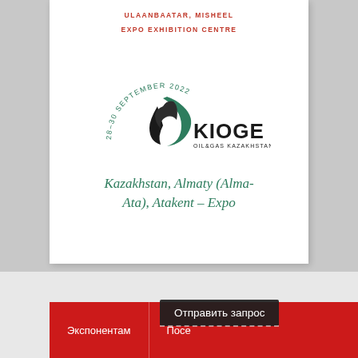ULAANBAATAR, MISHEEL EXPO EXHIBITION CENTRE
[Figure (logo): KIOGE Oil & Gas Kazakhstan logo with arched text '28-30 SEPTEMBER 2022' above a green and black droplet icon and bold 'KIOGE' lettering]
Kazakhstan, Almaty (Alma-Ata), Atakent – Expo
Экспонентам
Посе…
Отправить запрос